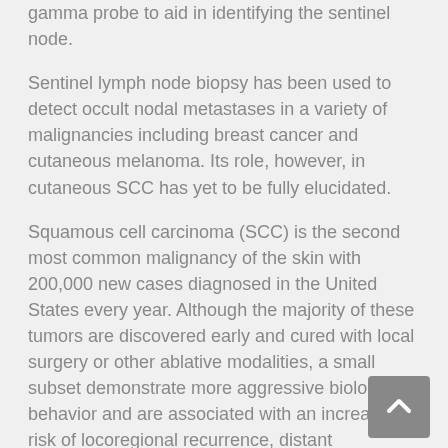gamma probe to aid in identifying the sentinel node.
Sentinel lymph node biopsy has been used to detect occult nodal metastases in a variety of malignancies including breast cancer and cutaneous melanoma. Its role, however, in cutaneous SCC has yet to be fully elucidated.
Squamous cell carcinoma (SCC) is the second most common malignancy of the skin with 200,000 new cases diagnosed in the United States every year. Although the majority of these tumors are discovered early and cured with local surgery or other ablative modalities, a small subset demonstrate more aggressive biological behavior and are associated with an increased risk of locoregional recurrence, distant metastases, and mortality.
For cutaneous SCC, high-risk tumor characteristics include large size, rapid growth rate, irregular borders, moderate/poor differentiation, perineural invasion, recurrent lesions, sites of prior radiation therapy or